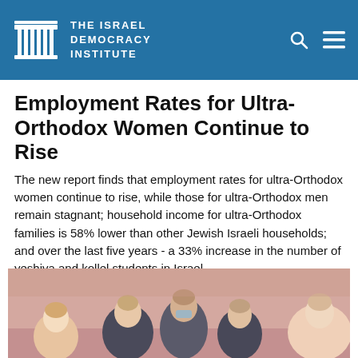THE ISRAEL DEMOCRACY INSTITUTE
Employment Rates for Ultra-Orthodox Women Continue to Rise
The new report finds that employment rates for ultra-Orthodox women continue to rise, while those for ultra-Orthodox men remain stagnant; household income for ultra-Orthodox families is 58% lower than other Jewish Israeli households; and over the last five years - a 33% increase in the number of yeshiva and kollel students in Israel
[Figure (photo): Group of people standing together, appears to be at an event or gathering]